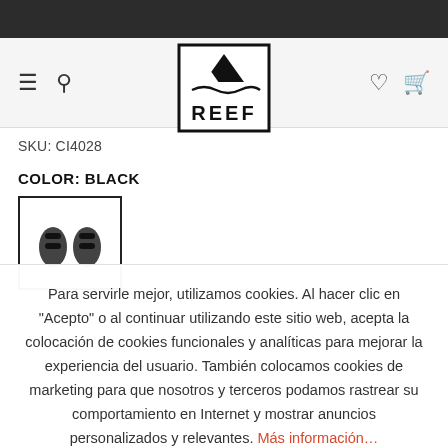[Figure (logo): REEF brand logo with mountain/wave icon above the word REEF in a square border]
SKU: CI4028
COLOR: BLACK
[Figure (photo): Small thumbnail image of black sandals/shoes on white background with black border]
Para servirle mejor, utilizamos cookies. Al hacer clic en "Acepto" o al continuar utilizando este sitio web, acepta la colocación de cookies funcionales y analíticas para mejorar la experiencia del usuario. También colocamos cookies de marketing para que nosotros y terceros podamos rastrear su comportamiento en Internet y mostrar anuncios personalizados y relevantes. Más información…
CONFIGURACIÓN DE COOKIES
ACEPTAR COOKIES